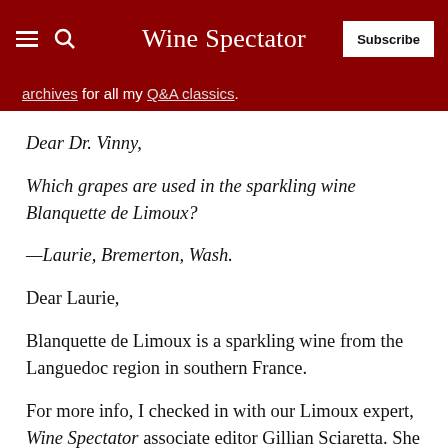Wine Spectator
archives for all my Q&A classics.
Dear Dr. Vinny,
Which grapes are used in the sparkling wine Blanquette de Limoux?
—Laurie, Bremerton, Wash.
Dear Laurie,
Blanquette de Limoux is a sparkling wine from the Languedoc region in southern France.
For more info, I checked in with our Limoux expert, Wine Spectator associate editor Gillian Sciaretta. She